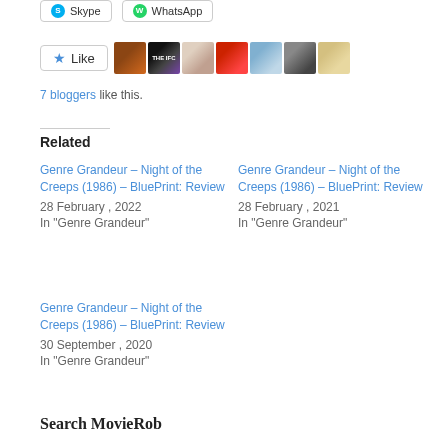[Figure (other): Share buttons row: Skype and WhatsApp buttons]
[Figure (other): Like button with star icon and 7 blogger avatar thumbnails]
7 bloggers like this.
Related
Genre Grandeur – Night of the Creeps (1986) – BluePrint: Review
28 February , 2022
In "Genre Grandeur"
Genre Grandeur – Night of the Creeps (1986) – BluePrint: Review
28 February , 2021
In "Genre Grandeur"
Genre Grandeur – Night of the Creeps (1986) – BluePrint: Review
30 September , 2020
In "Genre Grandeur"
Search MovieRob